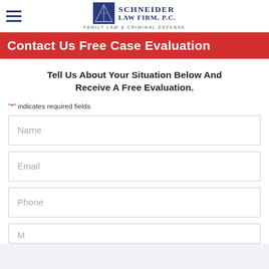Schneider Law Firm, P.C. — Family Law & Criminal Defense
Contact Us Free Case Evaluation
Tell Us About Your Situation Below And Receive A Free Evaluation.
"*" indicates required fields
Name
Email
Phone
M...